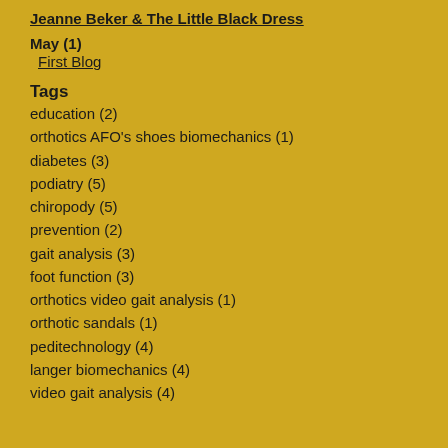Jeanne Beker & The Little Black Dress
May (1)
First Blog
Tags
education (2)
orthotics AFO's shoes biomechanics (1)
diabetes (3)
podiatry (5)
chiropody (5)
prevention (2)
gait analysis (3)
foot function (3)
orthotics video gait analysis (1)
orthotic sandals (1)
peditechnology (4)
langer biomechanics (4)
video gait analysis (4)